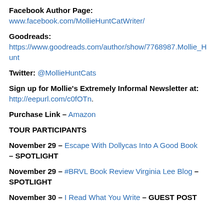Facebook Author Page: www.facebook.com/MollieHuntCatWriter/
Goodreads: https://www.goodreads.com/author/show/7768987.Mollie_Hunt
Twitter: @MollieHuntCats
Sign up for Mollie's Extremely Informal Newsletter at: http://eepurl.com/c0fOTn.
Purchase Link – Amazon
TOUR PARTICIPANTS
November 29 – Escape With Dollycas Into A Good Book – SPOTLIGHT
November 29 – #BRVL Book Review Virginia Lee Blog – SPOTLIGHT
November 30 – I Read What You Write – GUEST POST